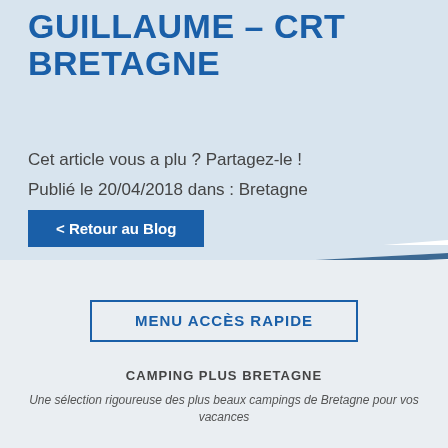GUILLAUME - CRT BRETAGNE
Cet article vous a plu ? Partagez-le !
Publié le 20/04/2018 dans : Bretagne
< Retour au Blog
MENU ACCÈS RAPIDE
CAMPING PLUS BRETAGNE
Une sélection rigoureuse des plus beaux campings de Bretagne pour vos vacances